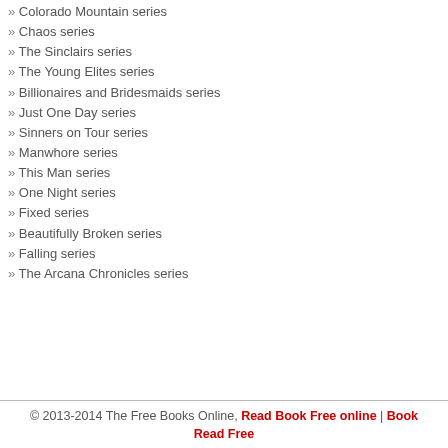» Colorado Mountain series
» Chaos series
» The Sinclairs series
» The Young Elites series
» Billionaires and Bridesmaids series
» Just One Day series
» Sinners on Tour series
» Manwhore series
» This Man series
» One Night series
» Fixed series
» Beautifully Broken series
» Falling series
» The Arcana Chronicles series
© 2013-2014 The Free Books Online, Read Book Free online | Book Read Free